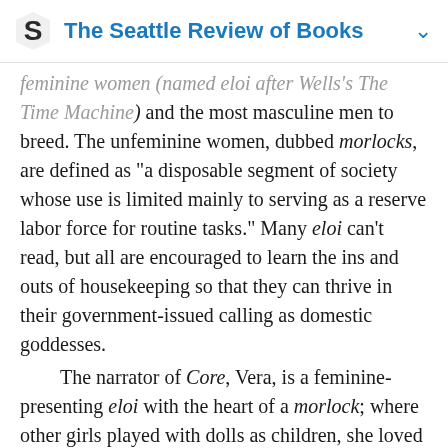The Seattle Review of Books
feminine women (named eloi after Wells's The Time Machine) and the most masculine men to breed. The unfeminine women, dubbed morlocks, are defined as “a disposable segment of society whose use is limited mainly to serving as a reserve labor force for routine tasks.” Many eloi can’t read, but all are encouraged to learn the ins and outs of housekeeping so that they can thrive in their government-issued calling as domestic goddesses.
    The narrator of Core, Vera, is a feminine-presenting eloi with the heart of a morlock; where other girls played with dolls as children, she loved fire trucks. Vera finds the day-to-day occurrences of eloi life to be unbearably pedantic. She doesn’t care what men